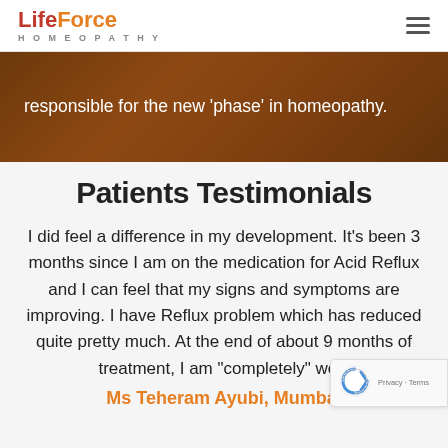LifeForce HOMEOPATHY
[Figure (photo): Brown/amber toned banner image showing books and homeopathy vials with overlay text]
responsible for the new 'phase' in homeopathy.
Patients Testimonials
I did feel a difference in my development. It's been 3 months since I am on the medication for Acid Reflux and I can feel that my signs and symptoms are improving. I have Reflux problem which has reduced quite pretty much. At the end of about 9 months of treatment, I am "completely" well.
Ms Teheram Ayubi, Mumbai